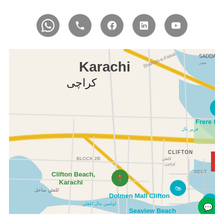[Figure (infographic): Row of 5 social media icon circles (grey): WhatsApp, phone/call, Facebook, LinkedIn, YouTube]
[Figure (map): Google Maps screenshot showing Karachi, Pakistan area with landmarks: Frere Hall, Nisar Shaheed Park, Clifton Beach Karachi, Dolmen Mall Clifton, Seaview Beach, The Indus Hospital, Defence Housing Authority, DHA Phase 8, Zone A. Text in English and Urdu. A green chat bubble icon in bottom right corner.]